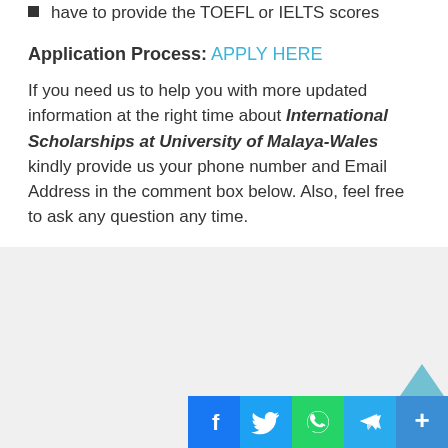have to provide the TOEFL or IELTS scores
Application Process: APPLY HERE
If you need us to help you with more updated information at the right time about International Scholarships at University of Malaya-Wales kindly provide us your phone number and Email Address in the comment box below. Also, feel free to ask any question any time.
[Figure (infographic): Social sharing icons: Facebook, Twitter, WhatsApp, Telegram, and a share/more button. A scroll-to-top arrow is also visible above the icons.]